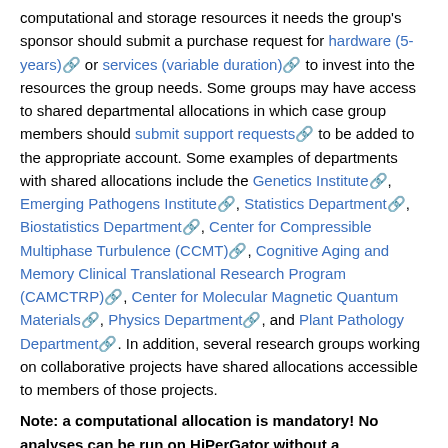computational and storage resources it needs the group's sponsor should submit a purchase request for hardware (5-years) or services (variable duration) to invest into the resources the group needs. Some groups may have access to shared departmental allocations in which case group members should submit support requests to be added to the appropriate account. Some examples of departments with shared allocations include the Genetics Institute, Emerging Pathogens Institute, Statistics Department, Biostatistics Department, Center for Compressible Multiphase Turbulence (CCMT), Cognitive Aging and Memory Clinical Translational Research Program (CAMCTRP), Center for Molecular Magnetic Quantum Materials, Physics Department, and Plant Pathology Department. In addition, several research groups working on collaborative projects have shared allocations accessible to members of those projects.
Note: a computational allocation is mandatory! No analyses can be run on HiPerGator without a computational allocation.
Creating an Account